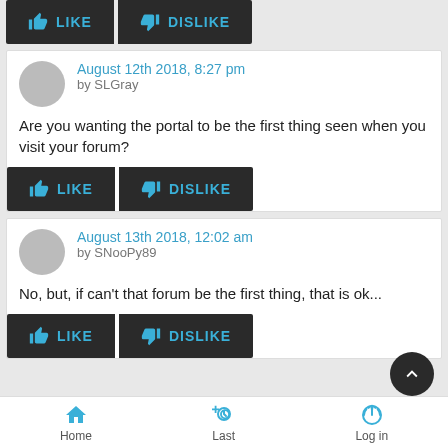[Figure (other): Like and Dislike buttons at top of page]
August 12th 2018, 8:27 pm by SLGray
Are you wanting the portal to be the first thing seen when you visit your forum?
[Figure (other): Like and Dislike buttons for first comment]
August 13th 2018, 12:02 am by SNooPy89
No, but, if can't that forum be the first thing, that is ok...
[Figure (other): Like and Dislike buttons for second comment]
Home  Last  Log in